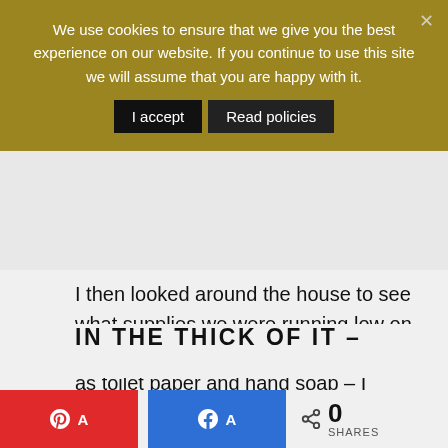We use cookies to ensure that we give you the best experience on our website. If you continue to use this site we will assume that you are happy with it.
I accept   Read policies
I then looked around the house to see what supplies we were running low on and would be running out of soon– such as toilet paper and hand soap – I bought these before February to keep those expenses within our January budget and really trim down what money came out in February.
IN THE THICK OF IT –
0 SHARES